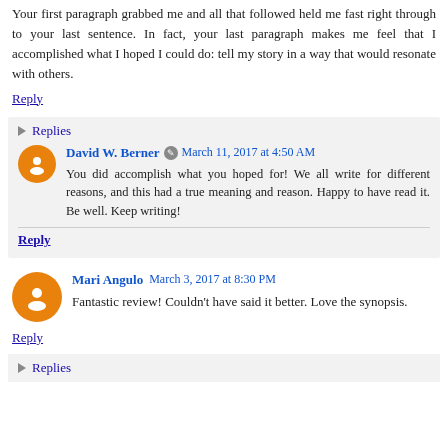Your first paragraph grabbed me and all that followed held me fast right through to your last sentence. In fact, your last paragraph makes me feel that I accomplished what I hoped I could do: tell my story in a way that would resonate with others.
Reply
▶ Replies
David W. Berner  March 11, 2017 at 4:50 AM
You did accomplish what you hoped for! We all write for different reasons, and this had a true meaning and reason. Happy to have read it. Be well. Keep writing!
Reply
Mari Angulo  March 3, 2017 at 8:30 PM
Fantastic review! Couldn't have said it better. Love the synopsis.
Reply
▶ Replies